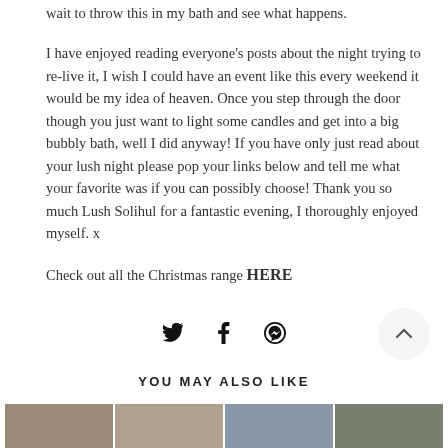wait to throw this in my bath and see what happens.
I have enjoyed reading everyone's posts about the night trying to re-live it, I wish I could have an event like this every weekend it would be my idea of heaven. Once you step through the door though you just want to light some candles and get into a big bubbly bath, well I did anyway! If you have only just read about your lush night please pop your links below and tell me what your favorite was if you can possibly choose! Thank you so much Lush Solihul for a fantastic evening, I thoroughly enjoyed myself. x
Check out all the Christmas range HERE
[Figure (infographic): Social sharing icons: Twitter bird, Facebook f, Pinterest p]
[Figure (other): Scroll-to-top button with upward chevron]
YOU MAY ALSO LIKE
[Figure (photo): Row of thumbnail images at bottom of page]